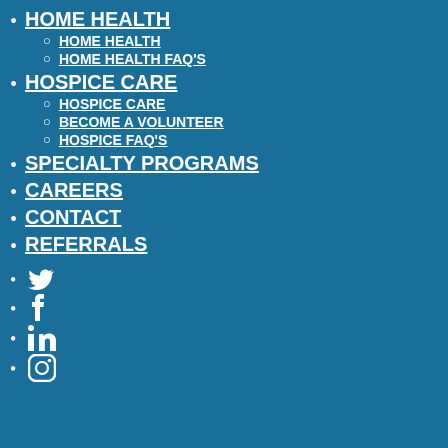HOME HEALTH
HOME HEALTH
HOME HEALTH FAQ'S
HOSPICE CARE
HOSPICE CARE
BECOME A VOLUNTEER
HOSPICE FAQ'S
SPECIALTY PROGRAMS
CAREERS
CONTACT
REFERRALS
Twitter icon
Facebook icon
LinkedIn icon
Instagram icon